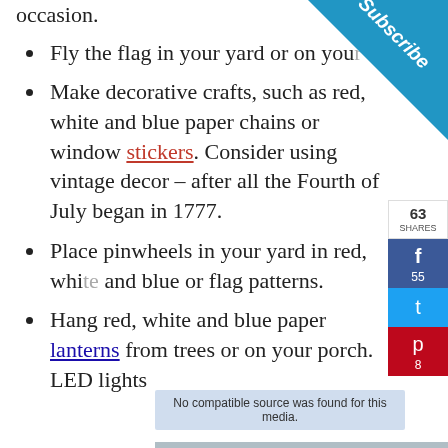occasion.
Fly the flag in your yard or on your...
Make decorative crafts, such as red, white and blue paper chains or window stickers. Consider using vintage decor – after all the Fourth of July began in 1777.
Place pinwheels in your yard in red, white and blue or flag patterns.
Hang red, white and blue paper lanterns from trees or on your porch. LED lights
[Figure (screenshot): Social media share sidebar with Facebook (55 shares), Twitter, and Pinterest (8) buttons, and a Subscribe banner in the top-right corner]
[Figure (photo): Advertisement image showing an airplane with overlaid text 'BROADCAST INSTEAD / WITHOUT REGARD TO / GIVING']